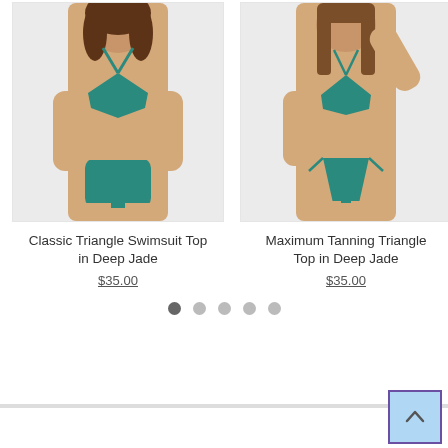[Figure (photo): Model wearing teal/jade classic triangle bikini top and bottom, white background]
[Figure (photo): Model wearing teal/jade maximum tanning triangle bikini top with side-tie bottoms, white background]
Classic Triangle Swimsuit Top in Deep Jade
$35.00
Maximum Tanning Triangle Top in Deep Jade
$35.00